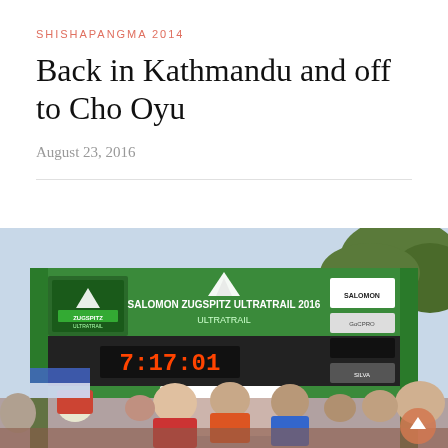SHISHAPANGMA 2014
Back in Kathmandu and off to Cho Oyu
August 23, 2016
[Figure (photo): Runners gathered at the finish/start gantry of the Salomon Zugspitz Ultratrail 2016 race. A large green arch displays 'SALOMON ZUGSPITZ ULTRATRAIL 2016 ULTRATRAIL' with a digital clock reading 7:17:01. Sponsor logos including Salomon, Silva, and GoCPRO are visible. Crowd of runners in red and colorful gear stand in front.]